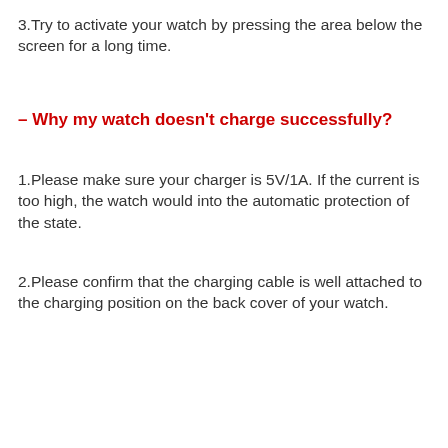3.Try to activate your watch by pressing the area below the screen for a long time.
– Why my watch doesn't charge successfully?
1.Please make sure your charger is 5V/1A. If the current is too high, the watch would into the automatic protection of the state.
2.Please confirm that the charging cable is well attached to the charging position on the back cover of your watch.